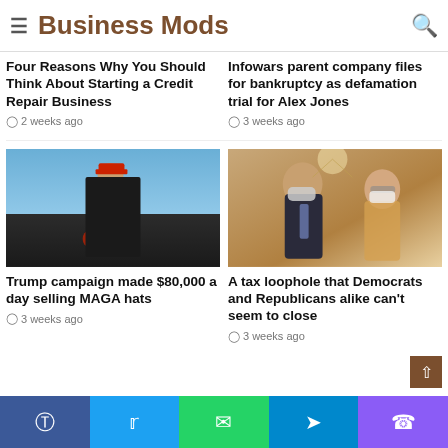Business Mods
Four Reasons Why You Should Think About Starting a Credit Repair Business
2 weeks ago
Infowars parent company files for bankruptcy as defamation trial for Alex Jones
3 weeks ago
[Figure (photo): Man in black suit and red MAGA hat standing outdoors against blue sky]
Trump campaign made $80,000 a day selling MAGA hats
3 weeks ago
[Figure (photo): Two senators wearing masks in conversation indoors]
A tax loophole that Democrats and Republicans alike can't seem to close
3 weeks ago